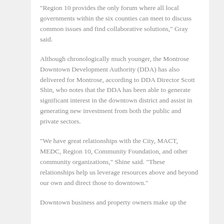“Region 10 provides the only forum where all local governments within the six counties can meet to discuss common issues and find collaborative solutions,” Gray said.
Although chronologically much younger, the Montrose Downtown Development Authority (DDA) has also delivered for Montrose, according to DDA Director Scott Shin, who notes that the DDA has been able to generate significant interest in the downtown district and assist in generating new investment from both the public and private sectors.
“We have great relationships with the City, MACT, MEDC, Region 10, Community Foundation, and other community organizations,” Shine said. “These relationships help us leverage resources above and beyond our own and direct those to downtown.”
Downtown business and property owners make up the